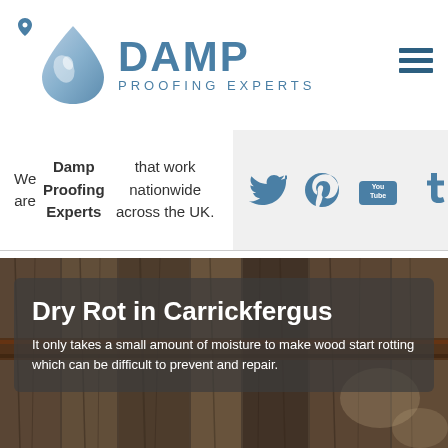[Figure (logo): Damp Proofing Experts logo with blue water droplet icon and text 'DAMP PROOFING EXPERTS']
We are Damp Proofing Experts that work nationwide across the UK.
[Figure (infographic): Social media icons: Twitter, Pinterest, YouTube, Tumblr in steel blue on light grey background]
Dry Rot in Carrickfergus
It only takes a small amount of moisture to make wood start rotting which can be difficult to prevent and repair.